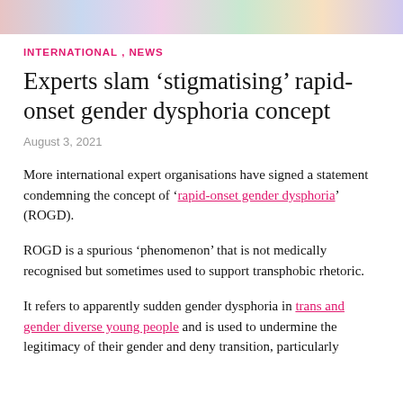[Figure (photo): Partial photo strip at top of page showing colourful background with people]
INTERNATIONAL , NEWS
Experts slam ‘stigmatising’ rapid-onset gender dysphoria concept
August 3, 2021
More international expert organisations have signed a statement condemning the concept of ‘rapid-onset gender dysphoria’ (ROGD).
ROGD is a spurious ‘phenomenon’ that is not medically recognised but sometimes used to support transphobic rhetoric.
It refers to apparently sudden gender dysphoria in trans and gender diverse young people and is used to undermine the legitimacy of their gender and deny transition, particularly